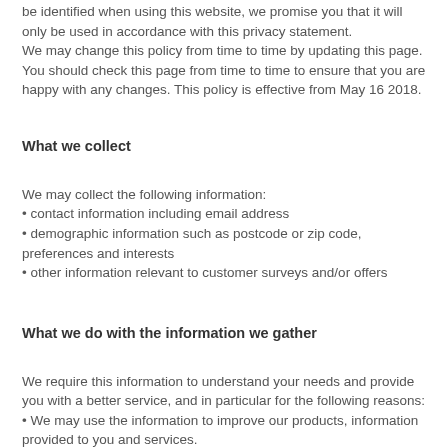be identified when using this website, we promise you that it will only be used in accordance with this privacy statement.
We may change this policy from time to time by updating this page. You should check this page from time to time to ensure that you are happy with any changes. This policy is effective from May 16 2018.
What we collect
We may collect the following information:
• contact information including email address
• demographic information such as postcode or zip code, preferences and interests
• other information relevant to customer surveys and/or offers
What we do with the information we gather
We require this information to understand your needs and provide you with a better service, and in particular for the following reasons:
• We may use the information to improve our products, information provided to you and services.